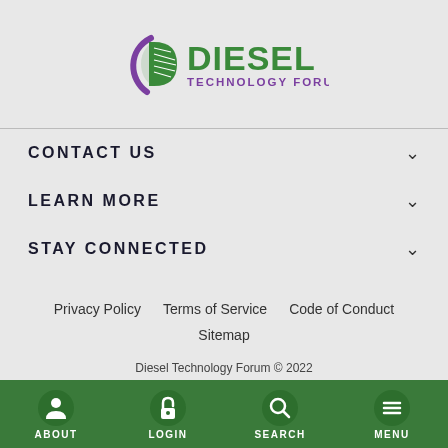[Figure (logo): Diesel Technology Forum logo with green 'D' leaf icon and purple swoosh, green text 'DIESEL' and purple 'TECHNOLOGY FORUM']
CONTACT US
LEARN MORE
STAY CONNECTED
Privacy Policy    Terms of Service    Code of Conduct
Sitemap
Diesel Technology Forum © 2022
ABOUT  LOGIN  SEARCH  MENU